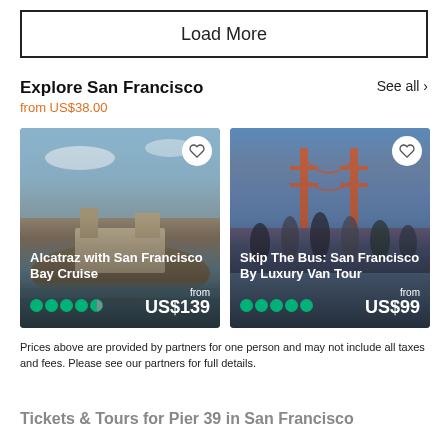Load More
Explore San Francisco
from US$38.00
See all >
[Figure (photo): Alcatraz Island with buildings visible, bay and sky in background. Card shows: Alcatraz with San Francisco Bay Cruise, from US$139, 4.5 star rating]
[Figure (photo): Group of people jumping in front of Golden Gate Bridge. Card shows: Skip The Bus: San Francisco By Luxury Van Tour, from US$99, 5 star rating]
Prices above are provided by partners for one person and may not include all taxes and fees. Please see our partners for full details.
Tickets & Tours for Pier 39 in San Francisco